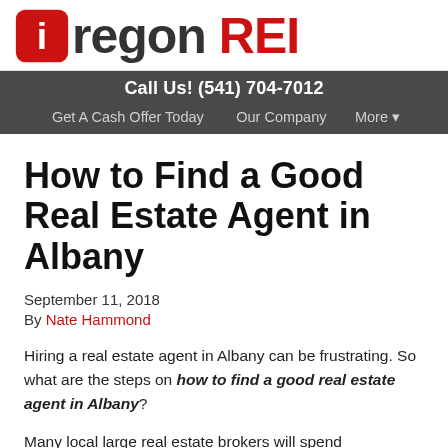Oregon REI
Call Us! (541) 704-7012
Get A Cash Offer Today   Our Company   More ▾
How to Find a Good Real Estate Agent in Albany
September 11, 2018
By Nate Hammond
Hiring a real estate agent in Albany can be frustrating. So what are the steps on how to find a good real estate agent in Albany?
Many local large real estate brokers will spend